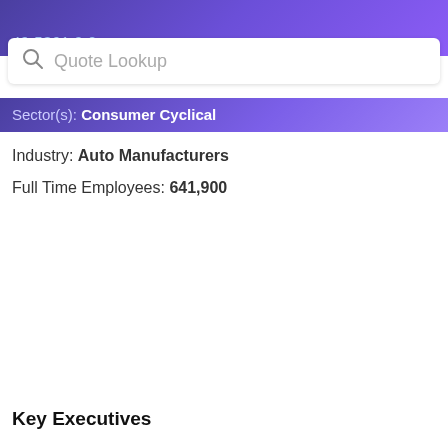49.5361 9.0
Quote Lookup
Sector(s): Consumer Cyclical
Industry: Auto Manufacturers
Full Time Employees: 641,900
Key Executives